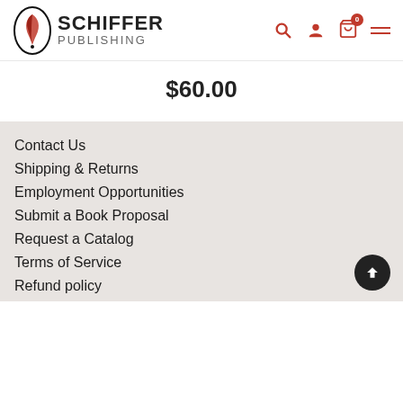Schiffer Publishing - header navigation with logo, search, account, cart (0), menu
$60.00
Contact Us
Shipping & Returns
Employment Opportunities
Submit a Book Proposal
Request a Catalog
Terms of Service
Refund policy